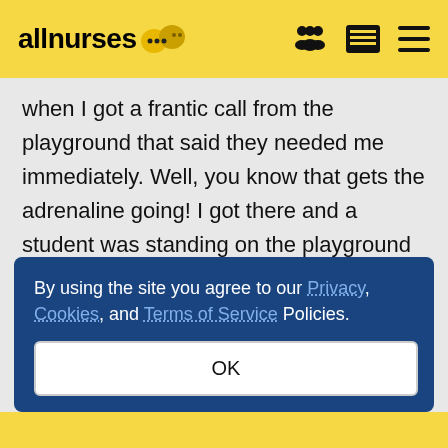allnurses
when I got a frantic call from the playground that said they needed me immediately. Well, you know that gets the adrenaline going! I got there and a student was standing on the playground with a wasp sitting on his jeans (not allergic) and the teacher said, "We didn't know what to do." Well, with all my skilled
By using the site you agree to our Privacy, Cookies, and Terms of Service Policies.
OK